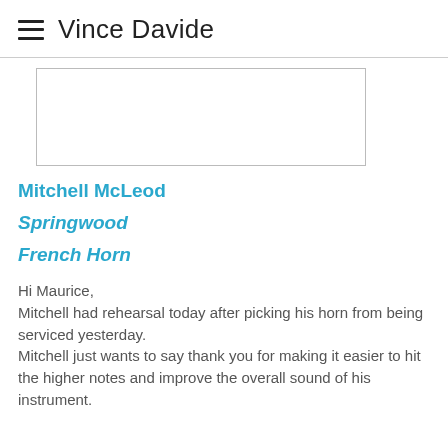Vince Davide
[Figure (other): Empty white content box with border, partial screenshot of a card or form area]
Mitchell McLeod
Springwood
French Horn
Hi Maurice,
Mitchell had rehearsal today after picking his horn from being serviced yesterday.
Mitchell just wants to say thank you for making it easier to hit the higher notes and improve the overall sound of his instrument.